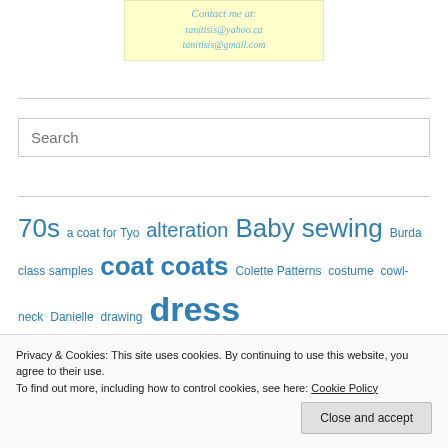Contact me at:
tanitisis@yahoo.ca
tanitisis@gmail.com
Search
70s  a coat for Tyo  alteration  Baby sewing  Burda class samples  coat  coats  Colette Patterns  costume  cowl-neck  Danielle  drawing  dress  fabric  finished
Privacy & Cookies: This site uses cookies. By continuing to use this website, you agree to their use. To find out more, including how to control cookies, see here: Cookie Policy
Close and accept
Jalie 2920  Jalie 3022  Jean Jacket  jeans  JJ blouse  Kid-Made  kids